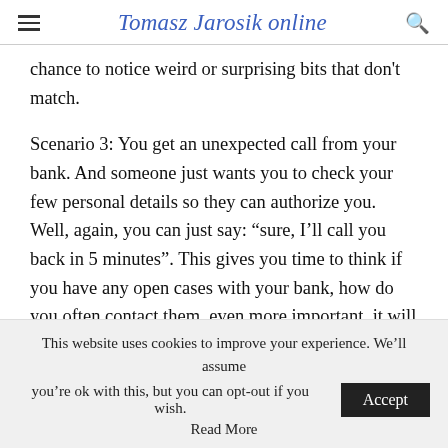Tomasz Jarosik online
chance to notice weird or surprising bits that don't match.
Scenario 3: You get an unexpected call from your bank. And someone just wants you to check your few personal details so they can authorize you. Well, again, you can just say: “sure, I’ll call you back in 5 minutes”. This gives you time to think if you have any open cases with your bank, how do you often contact them, even more important, it will be you who will now choose a phone
This website uses cookies to improve your experience. We’ll assume you’re ok with this, but you can opt-out if you wish.
Read More